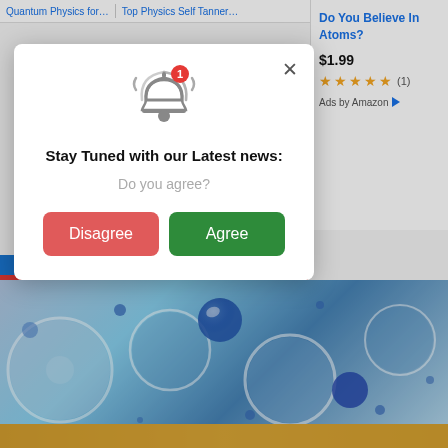[Figure (screenshot): Website browser screenshot showing a notification permission modal dialog over a science news website. The modal contains a bell icon with notification badge, headline 'Stay Tuned with our Latest news:', subtext 'Do you agree?', and two buttons: red 'Disagree' and green 'Agree'. Background shows Amazon ad for 'Do You Believe In Atoms?' at $1.99 with 5-star rating, and a science article about water with bubble photography.]
Stay Tuned with our Latest news:
Do you agree?
Disagree
Agree
Do You Believe In Atoms?
$1.99
(1)
Ads by Amazon
Water Can Separate Into 2 Different Liquids. We Just Got Closer to Knowing Why